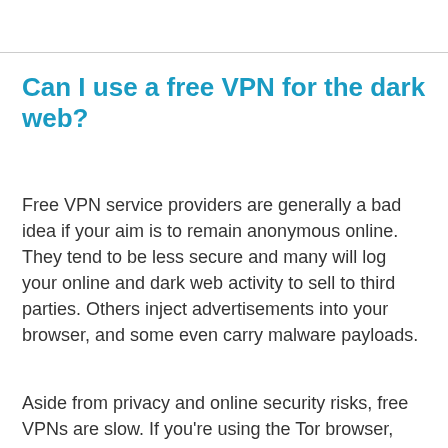Can I use a free VPN for the dark web?
Free VPN service providers are generally a bad idea if your aim is to remain anonymous online. They tend to be less secure and many will log your online and dark web activity to sell to third parties. Others inject advertisements into your browser, and some even carry malware payloads.
Aside from privacy and online security risks, free VPNs are slow. If you're using the Tor browser,